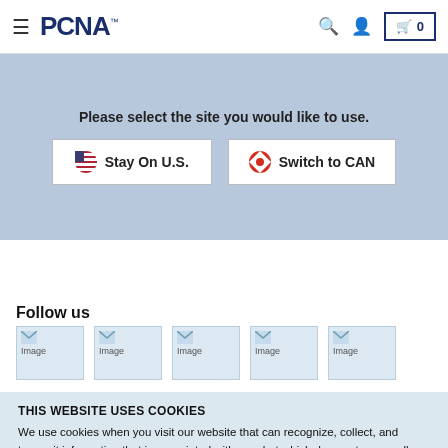PCNA — Stay On U.S. / Switch to CAN selection banner
Please select the site you would like to use.
Stay On U.S.
Switch to CAN
Follow us
[Figure (photo): Five social media icon placeholder images]
THIS WEBSITE USES COOKIES
We use cookies when you visit our website that can recognize, collect, and transmit information that is associated with you, but which does not personally identify you. Review our Privacy Policy...